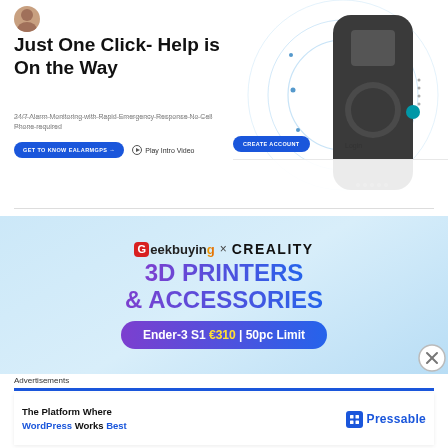[Figure (screenshot): AlarmGPS hero section with avatar icon, headline, subtext, CTA buttons, and device image with signal rings. CREATE ACCOUNT and Login buttons overlay the device image.]
Just One Click- Help is On the Way
24/7 Alarm Monitoring with Rapid Emergency Response No Cell Phone required
[Figure (advertisement): Geekbuying x Creality advertisement banner with light blue background. Shows '3D PRINTERS & ACCESSORIES' in purple-to-blue gradient text. Pill button reads 'Ender-3 S1 €310 | 50pc Limit']
Advertisements
[Figure (advertisement): Pressable advertisement: 'The Platform Where WordPress Works Best' with Pressable logo on the right.]